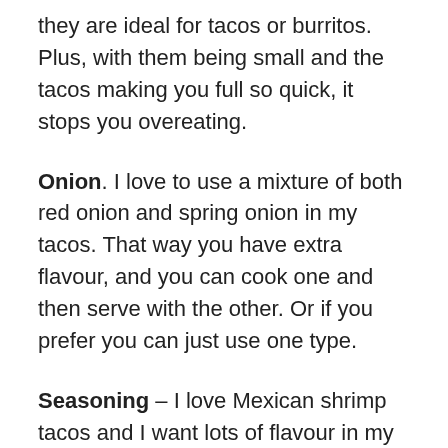they are ideal for tacos or burritos. Plus, with them being small and the tacos making you full so quick, it stops you overeating.
Onion. I love to use a mixture of both red onion and spring onion in my tacos. That way you have extra flavour, and you can cook one and then serve with the other. Or if you prefer you can just use one type.
Seasoning – I love Mexican shrimp tacos and I want lots of flavour in my shrimp taco recipe and this means plenty of shrimp taco seasoning. I recommend paprika, cayenne pepper, garlic, cumin, Mexican seasoning and of course, salt, and pepper.